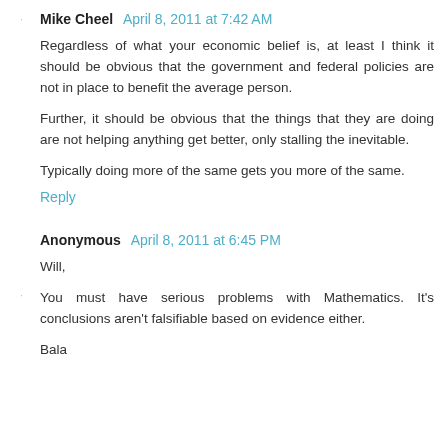Mike Cheel  April 8, 2011 at 7:42 AM
Regardless of what your economic belief is, at least I think it should be obvious that the government and federal policies are not in place to benefit the average person.
Further, it should be obvious that the things that they are doing are not helping anything get better, only stalling the inevitable.
Typically doing more of the same gets you more of the same.
Reply
Anonymous  April 8, 2011 at 6:45 PM
Will,
You must have serious problems with Mathematics. It's conclusions aren't falsifiable based on evidence either.
Bala